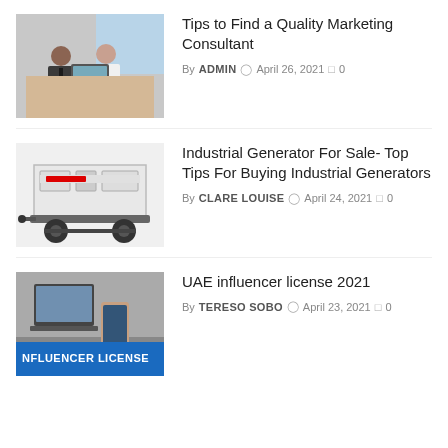[Figure (photo): Two professionals, a man and a woman, sitting at a desk with a laptop, in a business meeting setting.]
Tips to Find a Quality Marketing Consultant
By ADMIN   April 26, 2021   0
[Figure (photo): White industrial generator on a wheeled trailer.]
Industrial Generator For Sale- Top Tips For Buying Industrial Generators
By CLARE LOUISE   April 24, 2021   0
[Figure (photo): Person using a laptop and smartphone, with a blue banner reading INFLUENCER LICENSE.]
UAE influencer license 2021
By TERESO SOBO   April 23, 2021   0